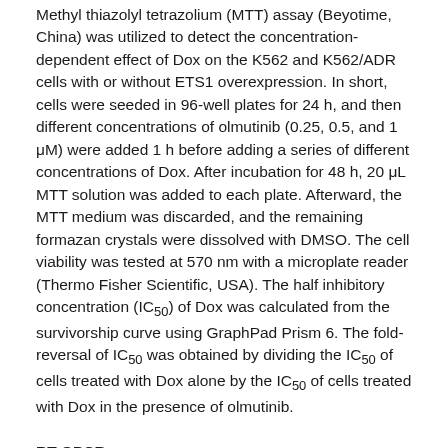Methyl thiazolyl tetrazolium (MTT) assay (Beyotime, China) was utilized to detect the concentration-dependent effect of Dox on the K562 and K562/ADR cells with or without ETS1 overexpression. In short, cells were seeded in 96-well plates for 24 h, and then different concentrations of olmutinib (0.25, 0.5, and 1 μM) were added 1 h before adding a series of different concentrations of Dox. After incubation for 48 h, 20 μL MTT solution was added to each plate. Afterward, the MTT medium was discarded, and the remaining formazan crystals were dissolved with DMSO. The cell viability was tested at 570 nm with a microplate reader (Thermo Fisher Scientific, USA). The half inhibitory concentration (IC50) of Dox was calculated from the survivorship curve using GraphPad Prism 6. The fold-reversal of IC50 was obtained by dividing the IC50 of cells treated with Dox alone by the IC50 of cells treated with Dox in the presence of olmutinib.
RT-QPCR:
The mRNA levels of ETS1 and ABCB1 were detected by RT-qPCR. In brief, the total RNA of K562 and K562/ADR cells was extracted using a TRIzol regent kit (Thermo Fisher Scientific, USA) and reverse-transcribed to cDNA using a PrimeScript RT reagent Kit (Takara Biotechnology, China). The qPCR was performed using TB